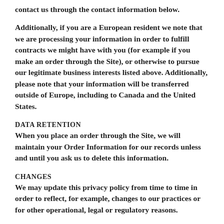contact us through the contact information below.
Additionally, if you are a European resident we note that we are processing your information in order to fulfill contracts we might have with you (for example if you make an order through the Site), or otherwise to pursue our legitimate business interests listed above. Additionally, please note that your information will be transferred outside of Europe, including to Canada and the United States.
DATA RETENTION
When you place an order through the Site, we will maintain your Order Information for our records unless and until you ask us to delete this information.
CHANGES
We may update this privacy policy from time to time in order to reflect, for example, changes to our practices or for other operational, legal or regulatory reasons.